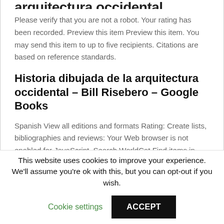arquitectura occidental...
Please verify that you are not a robot. Your rating has been recorded. Preview this item Preview this item. You may send this item to up to five recipients. Citations are based on reference standards.
Historia dibujada de la arquitectura occidental – Bill Risebero – Google Books
Spanish View all editions and formats Rating: Create lists, bibliographies and reviews: Your Web browser is not enabled for JavaScript. Search WorldCat Find items in libraries near you. Privacy Policy Terms and Conditions...
This website uses cookies to improve your experience. We'll assume you're ok with this, but you can opt-out if you wish. Cookie settings ACCEPT